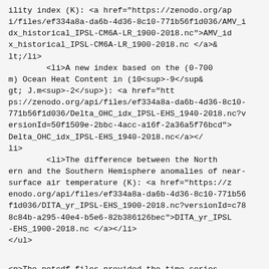ility index (K): <a href="https://zenodo.org/api/files/ef334a8a-da6b-4d36-8c10-771b56f1d036/AMV_idx_historical_IPSL-CM6A-LR_1900-2018.nc">AMV_idx_historical_IPSL-CM6A-LR_1900-2018.nc </a></li>
<li>A new index based on the (0-700 m) Ocean Heat Content in (10<sup>-9</sup> J.m<sup>-2</sup>): <a href="https://zenodo.org/api/files/ef334a8a-da6b-4d36-8c10-771b56f1d036/Delta_OHC_idx_IPSL-EHS_1940-2018.nc?versionId=50f1509e-2bbc-4acc-a16f-2a36a5f76bcd">Delta_OHC_idx_IPSL-EHS_1940-2018.nc</a></li>
<li>The difference between the Northern and the Southern Hemisphere anomalies of near-surface air temperature (K): <a href="https://zenodo.org/api/files/ef334a8a-da6b-4d36-8c10-771b56f1d036/DITA_yr_IPSL-EHS_1900-2018.nc?versionId=c788c84b-a295-40e4-b5e6-82b386126bec">DITA_yr_IPSL-EHS_1900-2018.nc </a></li>
</ul>
<p>The netcdf files provided the time series described above for each of the 32 members of the